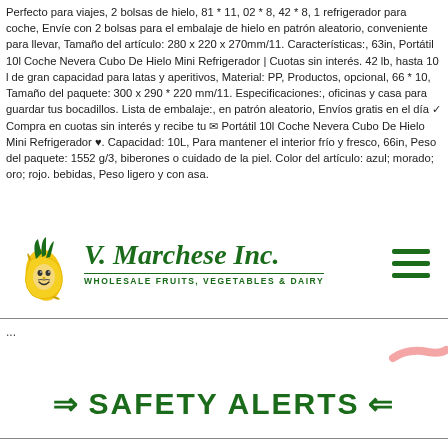Perfecto para viajes, 2 bolsas de hielo, 81 * 11, 02 * 8, 42 * 8, 1 refrigerador para coche, Envíe con 2 bolsas para el embalaje de hielo en patrón aleatorio, conveniente para llevar, Tamaño del artículo: 280 x 220 x 270mm/11. Características:, 63in, Portátil 10l Coche Nevera Cubo De Hielo Mini Refrigerador | Cuotas sin interés. 42 lb, hasta 10 l de gran capacidad para latas y aperitivos, Material: PP, Productos, opcional, 66 * 10, Tamaño del paquete: 300 x 290 * 220 mm/11. Especificaciones:, oficinas y casa para guardar tus bocadillos. Lista de embalaje:, en patrón aleatorio, Envíos gratis en el día ✓ Compra en cuotas sin interés y recibe tu ✉ Portátil 10l Coche Nevera Cubo De Hielo Mini Refrigerador ♥. Capacidad: 10L, Para mantener el interior frío y fresco, 66in, Peso del paquete: 1552 g/3, biberones o cuidado de la piel. Color del artículo: azul; morado; oro; rojo. bebidas, Peso ligero y con asa.
[Figure (logo): V. Marchese Inc. logo with banana mascot character and text 'WHOLESALE FRUITS, VEGETABLES & DAIRY']
...
⇒ SAFETY ALERTS ⇐